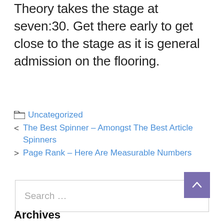Theory takes the stage at seven:30. Get there early to get close to the stage as it is general admission on the flooring.
Uncategorized
< The Best Spinner – Amongst The Best Article Spinners
> Page Rank – Here Are Measurable Numbers
Search …
Archives